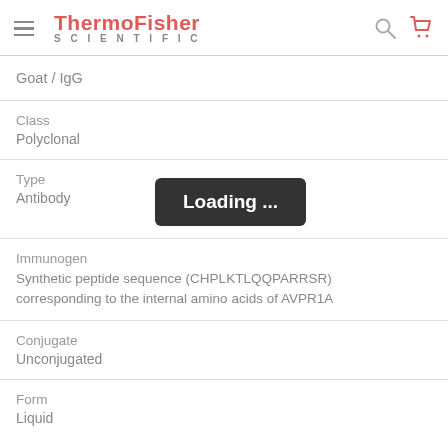ThermoFisher SCIENTIFIC
Goat / IgG
Class
Polyclonal
Type
Antibody
Immunogen
Synthetic peptide sequence (CHPLKTLQQPARRSR) corresponding to the internal amino acids of AVPR1A
Conjugate
Unconjugated
Form
Liquid